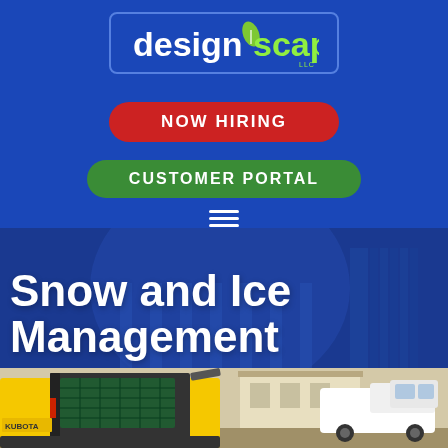[Figure (logo): designscapes LLC logo in white and green on blue background inside a rounded rectangle border]
NOW HIRING
CUSTOMER PORTAL
[Figure (illustration): Hamburger menu icon (three horizontal white lines) on blue background]
Snow and Ice Management
[Figure (photo): Yellow skid steer loader and white pickup truck parked in front of a residential building]